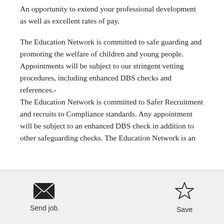An opportunity to extend your professional development as well as excellent rates of pay.
The Education Network is committed to safe guarding and promoting the welfare of children and young people. Appointments will be subject to our stringent vetting procedures, including enhanced DBS checks and references.-
The Education Network is committed to Safer Recruitment and recruits to Compliance standards. Any appointment will be subject to an enhanced DBS check in addition to other safeguarding checks. The Education Network is an
Send job   Save